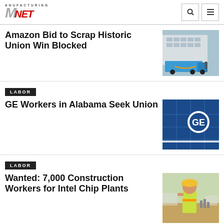Manufacturing.net
Amazon Bid to Scrap Historic Union Win Blocked
[Figure (photo): Amazon truck at a warehouse/facility]
LABOR
GE Workers in Alabama Seek Union
[Figure (photo): GE building facade with GE logo]
LABOR
Wanted: 7,000 Construction Workers for Intel Chip Plants
[Figure (photo): Construction worker in yellow hard hat and safety vest]